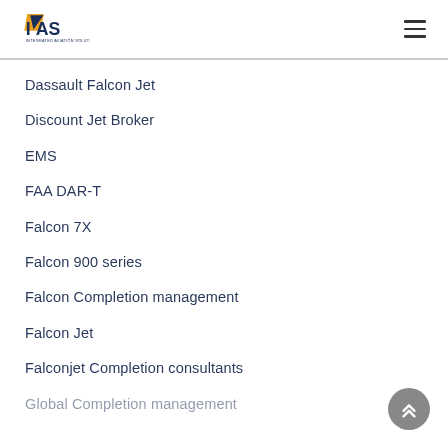IAS — Integrated Aviation Solutions
Dassault Falcon Jet
Discount Jet Broker
EMS
FAA DAR-T
Falcon 7X
Falcon 900 series
Falcon Completion management
Falcon Jet
Falconjet Completion consultants
Global Completion management